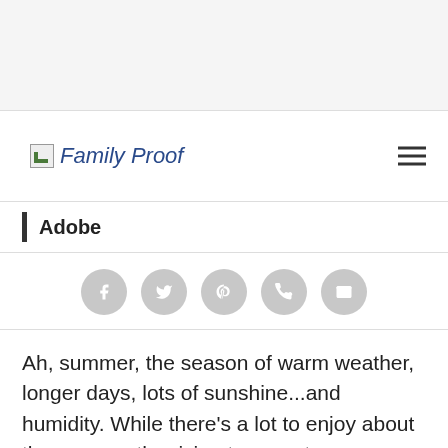[Figure (logo): Family Proof website logo with small image icon and italic blue text]
Adobe
[Figure (infographic): Row of 5 circular social share icons: Facebook, Twitter, Pinterest, Phone/WhatsApp, Email]
Ah, summer, the season of warm weather, longer days, lots of sunshine...and humidity. While there's a lot to enjoy about the season, the rising temperatures cause increased sweating and sebum production, a combination that tends to lead to oily hair. Of course, it's tempting to combat this by shampooing more often, but according to experts, you may want to